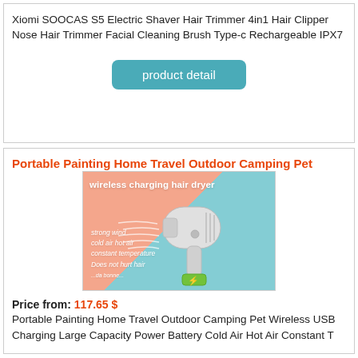Xiomi SOOCAS S5 Electric Shaver Hair Trimmer 4in1 Hair Clipper Nose Hair Trimmer Facial Cleaning Brush Type-c Rechargeable IPX7
product detail
Portable Painting Home Travel Outdoor Camping Pet
[Figure (photo): Product image of a wireless charging hair dryer on a pink and teal background with text: 'wireless charging hair dryer', and features: strong wind, cold air hot air, constant temperature, Does not hurt hair]
Price from: 117.65 $
Portable Painting Home Travel Outdoor Camping Pet Wireless USB Charging Large Capacity Power Battery Cold Air Hot Air Constant T